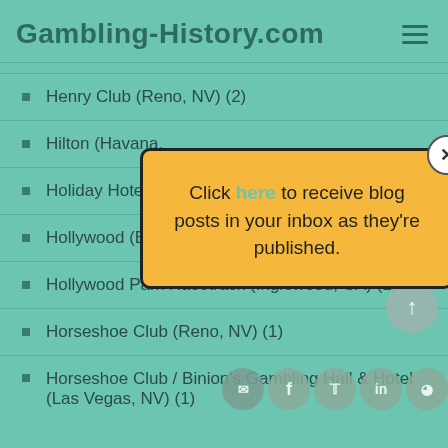Gambling-History.com
Henry Club (Reno, NV) (2)
Hilton (Havana, …
Holiday Hotel (R…
Hollywood (El C…
Hollywood Park Racetrack (Inglewood, CA) (1)
Horseshoe Club (Reno, NV) (1)
Horseshoe Club / Binion's Gambling Hall & Hotel (Las Vegas, NV) (1)
[Figure (infographic): Yellow popup box with close button (X) that reads: Click here to receive blog posts in your inbox as they're published.]